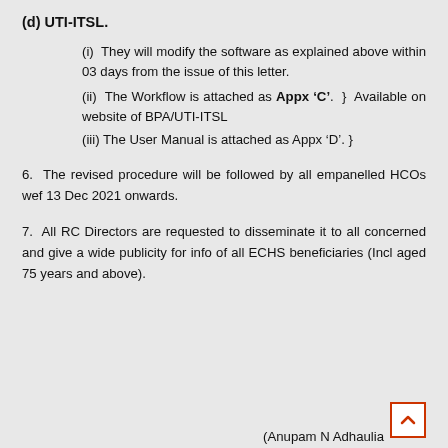(d) UTI-ITSL.
(i)  They will modify the software as explained above within 03 days from the issue of this letter.
(ii)  The Workflow is attached as Appx ‘C’.  }  Available on website of BPA/UTI-ITSL
(iii) The User Manual is attached as Appx ‘D’. }
6.  The revised procedure will be followed by all empanelled HCOs wef 13 Dec 2021 onwards.
7.  All RC Directors are requested to disseminate it to all concerned and give a wide publicity for info of all ECHS beneficiaries (Incl aged 75 years and above).
(Anupam N Adhaulia